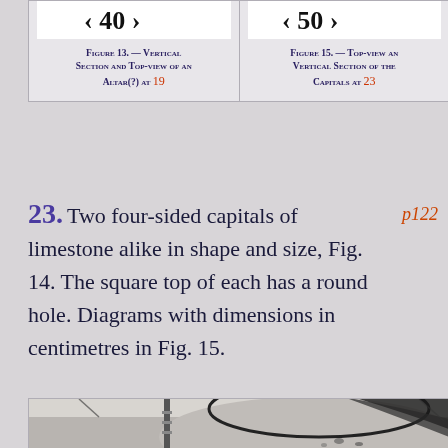Figure 13. — Vertical Section and Top-view of an Altar(?) at 19
Figure 15. — Top-view and Vertical Section of the Capitals at 23
23. Two four-sided capitals of limestone alike in shape and size, Fig. 14. The square top of each has a round hole. Diagrams with dimensions in centimetres in Fig. 15.
p122
[Figure (photo): Black and white photograph of a large rounded limestone capital or stone object, with a circular outline visible on top, a measuring rod leaning against it, and sparse vegetation in the background.]